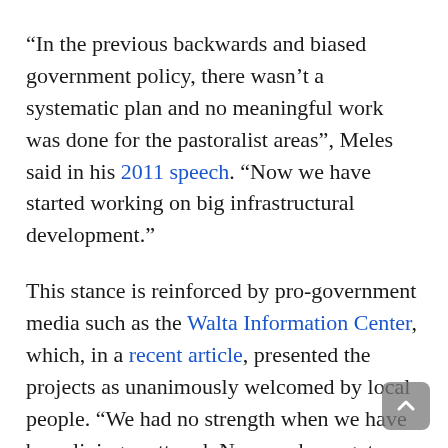“In the previous backwards and biased government policy, there wasn’t a systematic plan and no meaningful work was done for the pastoralist areas”, Meles said in his 2011 speech. “Now we have started working on big infrastructural development.”
This stance is reinforced by pro-government media such as the Walta Information Center, which, in a recent article, presented the projects as unanimously welcomed by local people. “We had no strength when we have been living scattered. Now we have got more power. We are learning. We are drinking clean water”, Walta quotes Duge Tati, a local in Village One, as saying. Another villager was said to aspire to own a car.